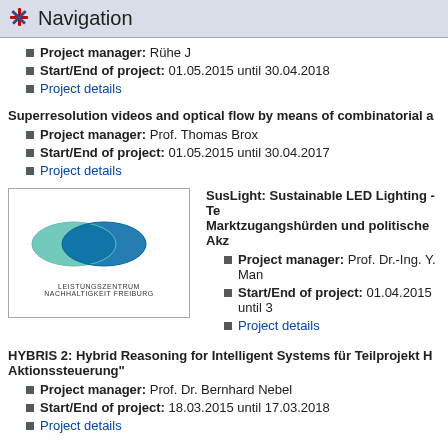Navigation
Project manager: Rühe J
Start/End of project: 01.05.2015 until 30.04.2018
Project details
Superresolution videos and optical flow by means of combinatorial a
Project manager: Prof. Thomas Brox
Start/End of project: 01.05.2015 until 30.04.2017
Project details
[Figure (logo): Leistungszentrum Nachhaltigkeit Freiburg logo with two overlapping ellipses]
SusLight: Sustainable LED Lighting - Te Marktzugangshürden und politische Akz
Project manager: Prof. Dr.-Ing. Y. Man
Start/End of project: 01.04.2015 until 3
Project details
HYBRIS 2: Hybrid Reasoning for Intelligent Systems für Teilprojekt H Aktionssteuerung"
Project manager: Prof. Dr. Bernhard Nebel
Start/End of project: 18.03.2015 until 17.03.2018
Project details